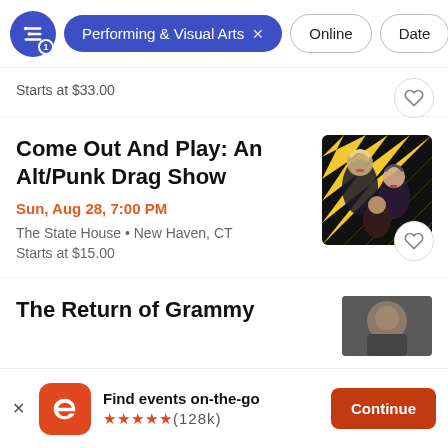Performing & Visual Arts  Online  Date
Starts at $33.00
Come Out And Play: An Alt/Punk Drag Show
Sun, Aug 28, 7:00 PM
The State House • New Haven, CT
Starts at $15.00
The Return of Grammy
Find events on-the-go ★★★★★ (128k)  Continue